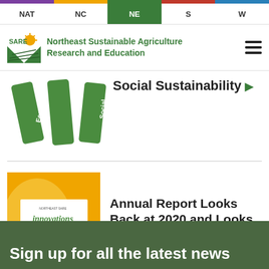NAT | NC | NE | S | W
[Figure (logo): SARE logo with sun and field graphic]
Northeast Sustainable Agriculture Research and Education
Social Sustainability
[Figure (illustration): Three green pillar shapes labeled Econo, Environmental, Social]
Annual Report Looks Back at 2020 and Looks Up to the Future
[Figure (photo): Innovations in Sustainable Agriculture cover showing sunflower with SARE logo]
Sign up for all the latest news